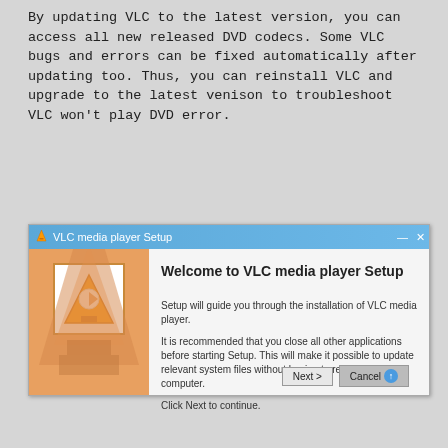By updating VLC to the latest version, you can access all new released DVD codecs. Some VLC bugs and errors can be fixed automatically after updating too. Thus, you can reinstall VLC and upgrade to the latest venison to troubleshoot VLC won't play DVD error.
[Figure (screenshot): VLC media player Setup installation wizard window showing welcome screen with VLC logo on orange left panel and setup instructions on the right panel, with Next and Cancel buttons at the bottom.]